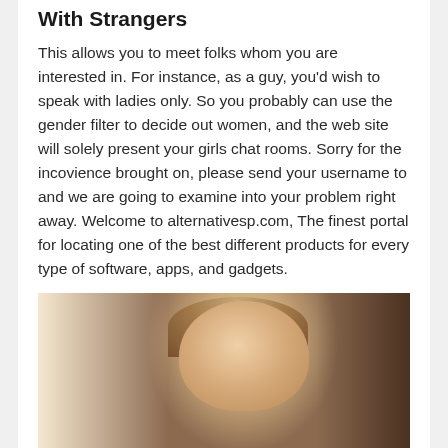With Strangers
This allows you to meet folks whom you are interested in. For instance, as a guy, you'd wish to speak with ladies only. So you probably can use the gender filter to decide out women, and the web site will solely present your girls chat rooms. Sorry for the incovience brought on, please send your username to and we are going to examine into your problem right away. Welcome to alternativesp.com, The finest portal for locating one of the best different products for every type of software, apps, and gadgets.
[Figure (photo): A partial photograph showing a person's face/head from what appears to be a casual setting, with bright light on the left side and darker background on the right.]